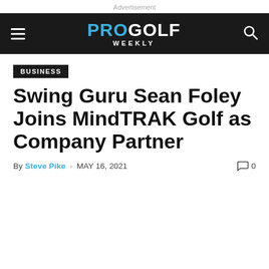Advertisement
PRO GOLF WEEKLY
BUSINESS
Swing Guru Sean Foley Joins MindTRAK Golf as Company Partner
By Steve Pike - MAY 16, 2021  0